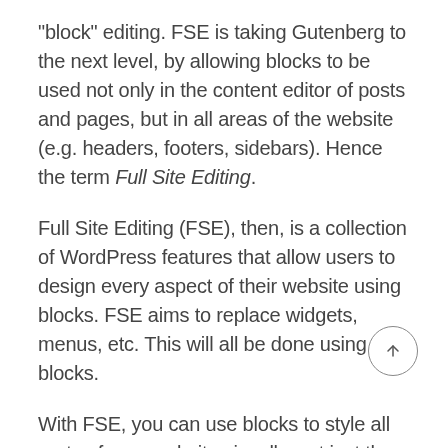“block” editing. FSE is taking Gutenberg to the next level, by allowing blocks to be used not only in the content editor of posts and pages, but in all areas of the website (e.g. headers, footers, sidebars). Hence the term Full Site Editing.
Full Site Editing (FSE), then, is a collection of WordPress features that allow users to design every aspect of their website using blocks. FSE aims to replace widgets, menus, etc. This will all be done using blocks.
With FSE, you can use blocks to style all parts of your website visually, not just the content area of posts and pages. This includes the site’s header, footer, and sidebars.
Full Site Editing promises to change how we all use WordPress themes, so let’s take a look at